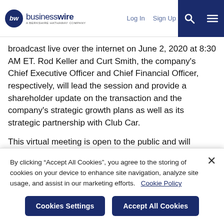businesswire — A BERKSHIRE HATHAWAY COMPANY | Log In | Sign Up
broadcast live over the internet on June 2, 2020 at 8:30 AM ET. Rod Keller and Curt Smith, the company's Chief Executive Officer and Chief Financial Officer, respectively, will lead the session and provide a shareholder update on the transaction and the company's strategic growth plans as well as its strategic partnership with Club Car.
This virtual meeting is open to the public and will consist of a live broadcast audio and video stream with Q&A. All attendees are required to register to participate. Please access the registration link and follow the instructions which will be available on AYRO's
By clicking "Accept All Cookies", you agree to the storing of cookies on your device to enhance site navigation, analyze site usage, and assist in our marketing efforts.   Cookie Policy
Cookies Settings | Accept All Cookies